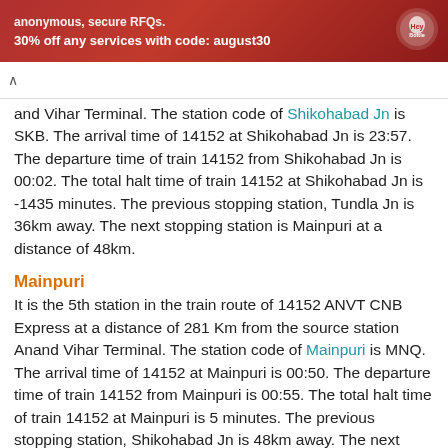anonymous, secure RFQs. 30% off any services with code: august30
and Vihar Terminal. The station code of Shikohabad Jn is SKB. The arrival time of 14152 at Shikohabad Jn is 23:57. The departure time of train 14152 from Shikohabad Jn is 00:02. The total halt time of train 14152 at Shikohabad Jn is -1435 minutes. The previous stopping station, Tundla Jn is 36km away. The next stopping station is Mainpuri at a distance of 48km.
Mainpuri
It is the 5th station in the train route of 14152 ANVT CNB Express at a distance of 281 Km from the source station Anand Vihar Terminal. The station code of Mainpuri is MNQ. The arrival time of 14152 at Mainpuri is 00:50. The departure time of train 14152 from Mainpuri is 00:55. The total halt time of train 14152 at Mainpuri is 5 minutes. The previous stopping station, Shikohabad Jn is 48km away. The next stopping station is Bhongaon at a distance of 14km.
Bhongaon
It is the 6th station in the train route of 14152 ANVT CNB Express at a distance of 295 Km from the source station